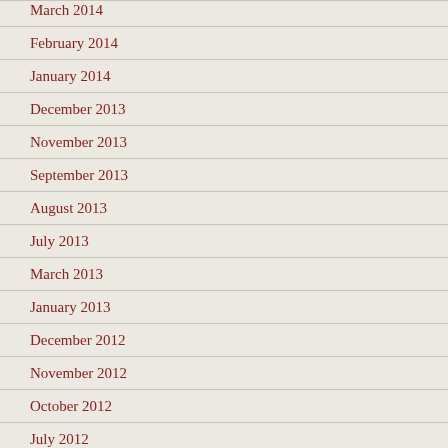March 2014
February 2014
January 2014
December 2013
November 2013
September 2013
August 2013
July 2013
March 2013
January 2013
December 2012
November 2012
October 2012
July 2012
June 2012